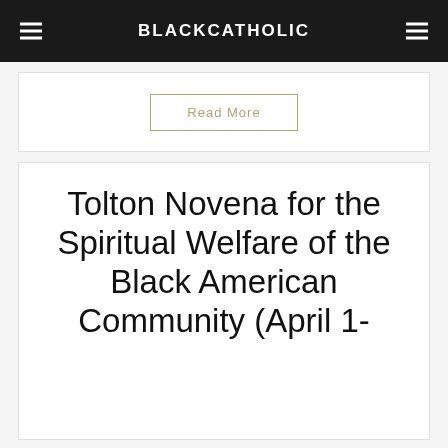BLACKCATHOLIC
Read More
Tolton Novena for the Spiritual Welfare of the Black American Community (April 1-